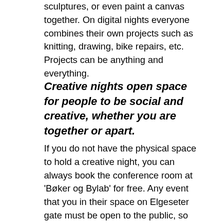sculptures, or even paint a canvas together. On digital nights everyone combines their own projects such as knitting, drawing, bike repairs, etc. Projects can be anything and everything.
Creative nights open space for people to be social and creative, whether you are together or apart.
If you do not have the physical space to hold a creative night, you can always book the conference room at 'Bøker og Bylab' for free. Any event that you in their space on Elgeseter gate must be open to the public, so this would be a great opportunity to make new friends! Especially if most of